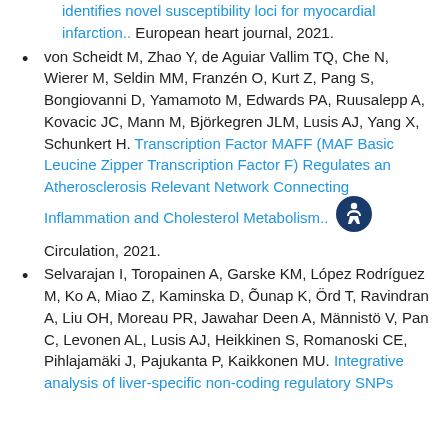identifies novel susceptibility loci for myocardial infarction.. European heart journal, 2021.
von Scheidt M, Zhao Y, de Aguiar Vallim TQ, Che N, Wierer M, Seldin MM, Franzén O, Kurt Z, Pang S, Bongiovanni D, Yamamoto M, Edwards PA, Ruusalepp A, Kovacic JC, Mann M, Björkegren JLM, Lusis AJ, Yang X, Schunkert H. Transcription Factor MAFF (MAF Basic Leucine Zipper Transcription Factor F) Regulates an Atherosclerosis Relevant Network Connecting Inflammation and Cholesterol Metabolism.. Circulation, 2021.
Selvarajan I, Toropainen A, Garske KM, López Rodríguez M, Ko A, Miao Z, Kaminska D, Õunap K, Örd T, Ravindran A, Liu OH, Moreau PR, Jawahar Deen A, Männistö V, Pan C, Levonen AL, Lusis AJ, Heikkinen S, Romanoski CE, Pihlajamäki J, Pajukanta P, Kaikkonen MU. Integrative analysis of liver-specific non-coding regulatory SNPs